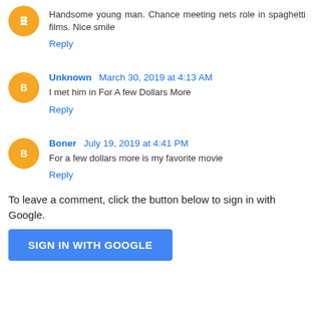Handsome young man. Chance meeting nets role in spaghetti films. Nice smile
Reply
Unknown March 30, 2019 at 4:13 AM
I met him in For A few Dollars More
Reply
Boner July 19, 2019 at 4:41 PM
For a few dollars more is my favorite movie
Reply
To leave a comment, click the button below to sign in with Google.
SIGN IN WITH GOOGLE